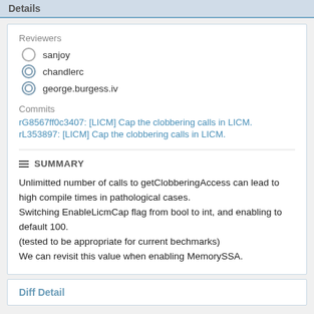Details
Reviewers
sanjoy
chandlerc
george.burgess.iv
Commits
rG8567ff0c3407: [LICM] Cap the clobbering calls in LICM.
rL353897: [LICM] Cap the clobbering calls in LICM.
SUMMARY
Unlimitted number of calls to getClobberingAccess can lead to high compile times in pathological cases.
Switching EnableLicmCap flag from bool to int, and enabling to default 100.
(tested to be appropriate for current bechmarks)
We can revisit this value when enabling MemorySSA.
Diff Detail